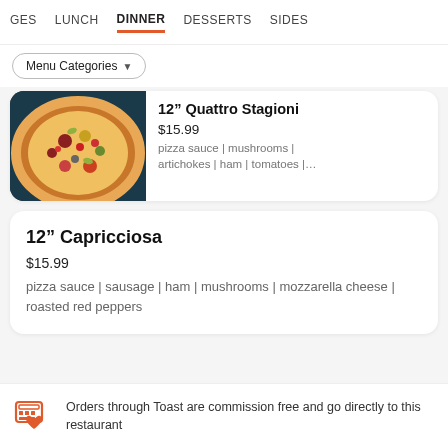GES  LUNCH  DINNER  DESSERTS  SIDES
Menu Categories ▼
[Figure (photo): Photo of a Quattro Stagioni pizza with toppings including mushrooms, artichokes, ham, and tomatoes]
12" Quattro Stagioni
$15.99
pizza sauce | mushrooms | artichokes | ham | tomatoes |...
12" Capricciosa
$15.99
pizza sauce | sausage | ham | mushrooms | mozzarella cheese | roasted red peppers
Orders through Toast are commission free and go directly to this restaurant